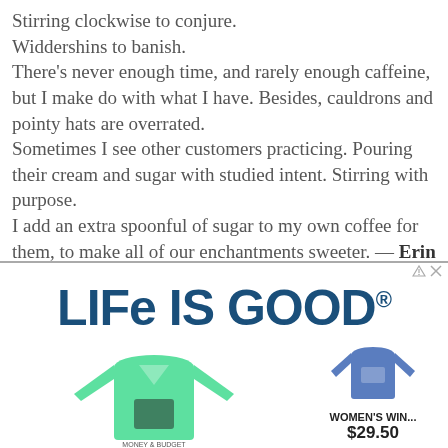Stirring clockwise to conjure.
Widdershins to banish.
There's never enough time, and rarely enough caffeine, but I make do with what I have. Besides, cauldrons and pointy hats are overrated.
Sometimes I see other customers practicing. Pouring their cream and sugar with studied intent. Stirring with purpose.
I add an extra spoonful of sugar to my own coffee for them, to make all of our enchantments sweeter. — Erin Morgenstern
[Figure (infographic): Life Is Good advertisement showing a mint green long-sleeve t-shirt with a cat design, a smaller blue women's t-shirt, text WOMEN'S WIN... and price $29.50]